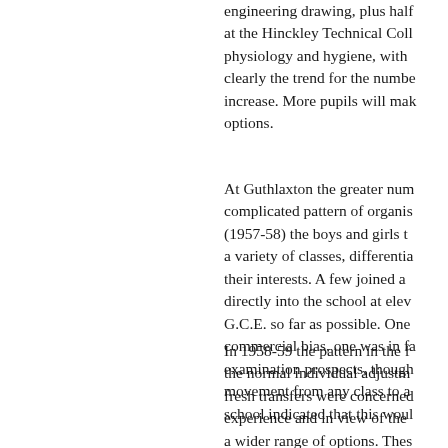engineering drawing, plus half at the Hinckley Technical College physiology and hygiene, with clearly the trend for the number to increase. More pupils will make options.
At Guthlaxton the greater number complicated pattern of organisation (1957-58) the boys and girls transferred a variety of classes, differentiated by their interests. A few joined a class directly into the school at eleven for G.C.E. so far as possible. One had a commercial bias, one was in favour of examination prospects, though movement from any class to another school indicated that this would.
In 1958-59 the pattern in the first year the normal individual adjustments fresh transfers were concerned experience and in view of the a wider range of options. Thes